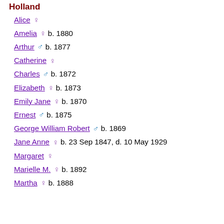Holland
Alice ♀
Amelia ♀ b. 1880
Arthur ♂ b. 1877
Catherine ♀
Charles ♂ b. 1872
Elizabeth ♀ b. 1873
Emily Jane ♀ b. 1870
Ernest ♂ b. 1875
George William Robert ♂ b. 1869
Jane Anne ♀ b. 23 Sep 1847, d. 10 May 1929
Margaret ♀
Marielle M. ♀ b. 1892
Martha ♀ b. 1888